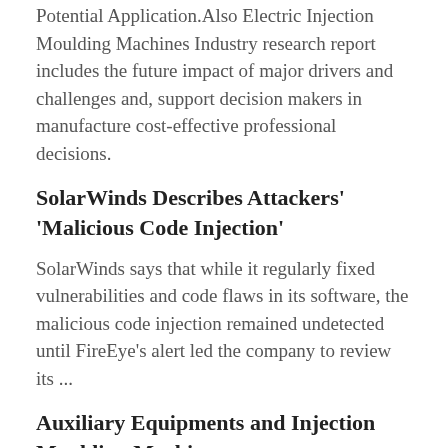Potential Application.Also Electric Injection Moulding Machines Industry research report includes the future impact of major drivers and challenges and, support decision makers in manufacture cost-effective professional decisions.
SolarWinds Describes Attackers' 'Malicious Code Injection'
SolarWinds says that while it regularly fixed vulnerabilities and code flaws in its software, the malicious code injection remained undetected until FireEye's alert led the company to review its ...
Auxiliary Equipments and Injection Moulding Machines ...
We are well known for the trading & supplying of standard as well as customized machines that cater to the specific requirements of the clients. The clients can bank